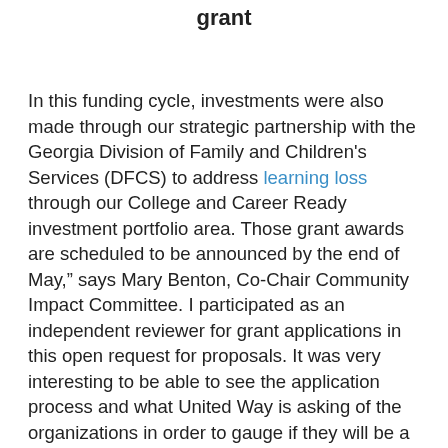grant
In this funding cycle, investments were also made through our strategic partnership with the Georgia Division of Family and Children’s Services (DFCS) to address learning loss through our College and Career Ready investment portfolio area. Those grant awards are scheduled to be announced by the end of May,” says Mary Benton, Co-Chair Community Impact Committee. I participated as an independent reviewer for grant applications in this open request for proposals. It was very interesting to be able to see the application process and what United Way is asking of the organizations in order to gauge if they will be a good fit to help us reach our goals. I was very impressed with the process and was happy to do it.”
partial bottom text (cut off)